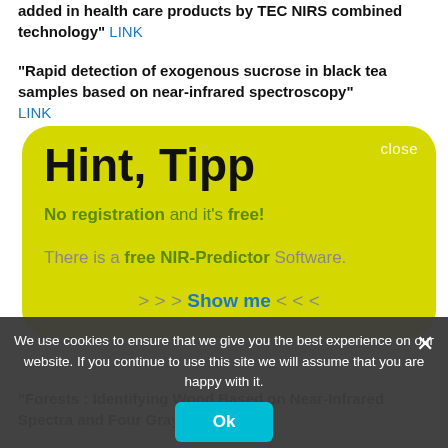added in health care products by TEC NIRS combined technology" LINK
"Rapid detection of exogenous sucrose in black tea samples based on near-infrared spectroscopy" LINK
[Figure (screenshot): Yellow rounded rectangle popup box with title 'Hint, Tipp', text 'No registration and it's free!' and 'There is a free NIR-Predictor Software.' and '> > > Show me < < <' link, with close button.]
We use cookies to ensure that we give you the best experience on our website. If you continue to use this site we will assume that you are happy with it.
"Forests : Identifying Wood Based on Near-Infrared Spectra and Four Gray-Level Co-Occurrence Matrix Texture Features" LINK